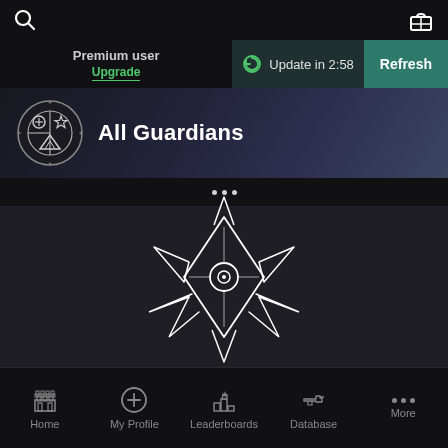Premium user | Update in 2:58 | Refresh | Upgrade
All Guardians
[Figure (illustration): Destiny Ghost shell icon, line-art style, white outline on dark background]
Home | My Profile | Leaderboards | Database | More